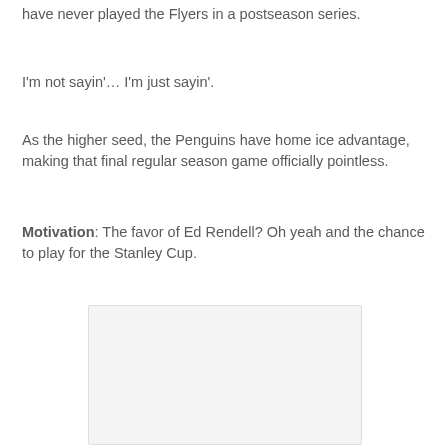have never played the Flyers in a postseason series.
I'm not sayin'… I'm just sayin'.
As the higher seed, the Penguins have home ice advantage, making that final regular season game officially pointless.
Motivation: The favor of Ed Rendell? Oh yeah and the chance to play for the Stanley Cup.
[Figure (photo): A blank/white image placeholder box]